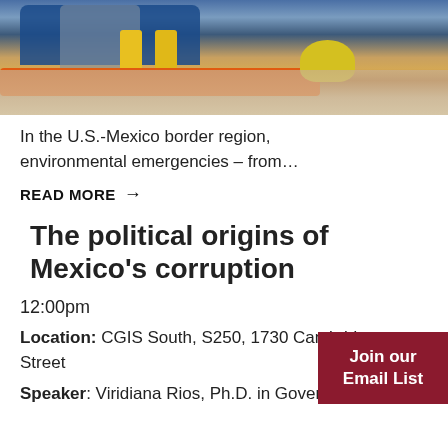[Figure (photo): Photo of workers in yellow boots and protective gear at what appears to be an environmental emergency cleanup, with orange barrier and blue bags on a wet floor.]
In the U.S.-Mexico border region, environmental emergencies – from…
READ MORE →
The political origins of Mexico's corruption
12:00pm
Location: CGIS South, S250, 1730 Cambridge Street
Join our Email List
Speaker: Viridiana Rios, Ph.D. in Government,